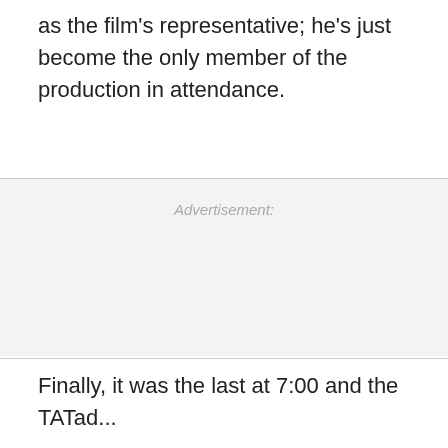as the film's representative; he's just become the only member of the production in attendance.
Advertisement:
Finally, it was the last at 7:00 and the TATad...